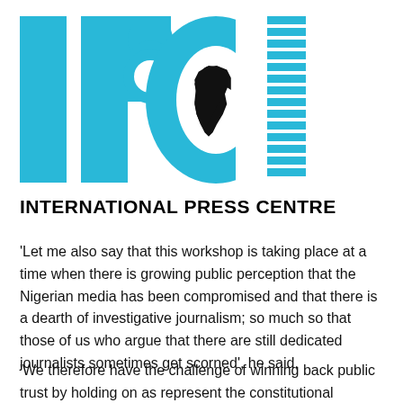[Figure (logo): IPC logo with large cyan letters I, P, C (with Africa map silhouette inside the C) and horizontal stripe pattern on the right]
INTERNATIONAL PRESS CENTRE
‘Let me also say that this workshop is taking place at a time when there is growing public perception that the Nigerian media has been compromised and that there is a dearth of investigative journalism; so much so that those of us who argue that there are still dedicated journalists sometimes get scorned’, he said.
‘We therefore have the challenge of winning back public trust by holding on as represent the constitutional obligation